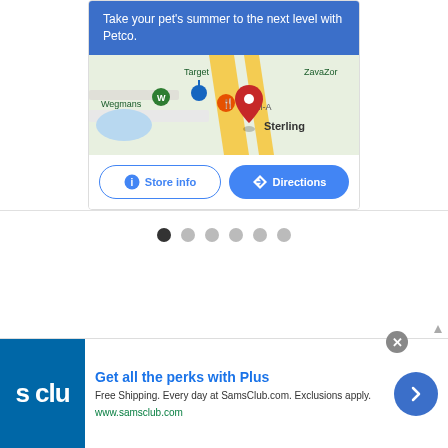[Figure (screenshot): Petco store ad card with map showing Sterling area with Target, Wegmans, ZavaZon, Chick-fil-A markers, blue banner reading 'Take your pet's summer to the next level with Petco.' and buttons: Store info, Directions]
[Figure (other): Carousel navigation dots: 6 dots, first filled dark, rest light gray]
About
[Figure (screenshot): Sam's Club bottom advertisement: 'Get all the perks with Plus' - Free Shipping. Every day at SamsClub.com. Exclusions apply. www.samsclub.com]